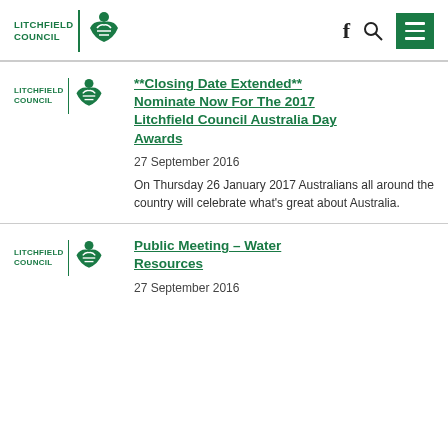Litchfield Council — website header with logo, Facebook icon, search icon, and menu button
**Closing Date Extended** Nominate Now For The 2017 Litchfield Council Australia Day Awards
27 September 2016
On Thursday 26 January 2017 Australians all around the country will celebrate what's great about Australia.
Public Meeting – Water Resources
27 September 2016